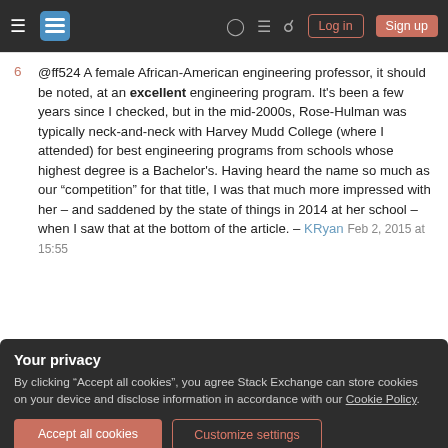Stack Exchange navigation bar with hamburger menu, logo, help, chat, search icons, Log in and Sign up buttons
@ff524 A female African-American engineering professor, it should be noted, at an excellent engineering program. It's been a few years since I checked, but in the mid-2000s, Rose-Hulman was typically neck-and-neck with Harvey Mudd College (where I attended) for best engineering programs from schools whose highest degree is a Bachelor's. Having heard the name so much as our “competition” for that title, I was that much more impressed with her – and saddened by the state of things in 2014 at her school – when I saw that at the bottom of the article. – KRyan Feb 2, 2015 at 15:55
Your privacy
By clicking “Accept all cookies”, you agree Stack Exchange can store cookies on your device and disclose information in accordance with our Cookie Policy.
Accept all cookies  Customize settings
males. I was just trying to be helpful, and I don’t recall a negative reception (not extremely positive either)